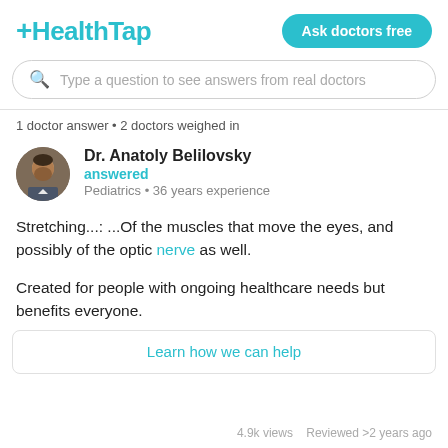HealthTap
Type a question to see answers from real doctors
1 doctor answer • 2 doctors weighed in
Dr. Anatoly Belilovsky
answered
Pediatrics • 36 years experience
Stretching...: ...Of the muscles that move the eyes, and possibly of the optic nerve as well.
Created for people with ongoing healthcare needs but benefits everyone.
Learn how we can help
4.9k views   Reviewed >2 years ago